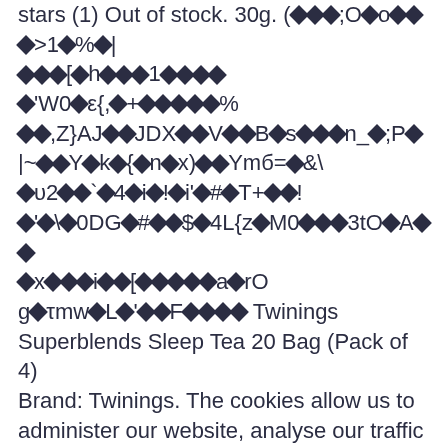stars (1) Out of stock. 30g. [garbled encoded text] Twinings Superblends Sleep Tea 20 Bag (Pack of 4) Brand: Twinings. The cookies allow us to administer our website, analyse our traffic and use them for advertising purposes. Getting a full night's sleep is the inspiration behind this